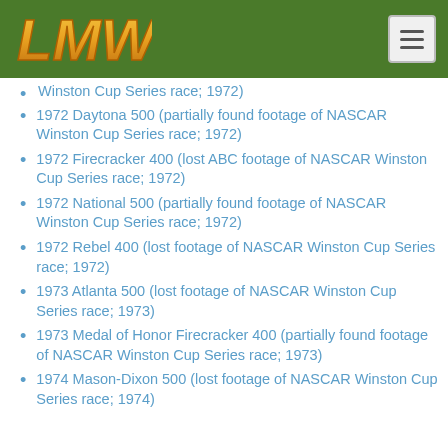[Figure (logo): LMW logo in gold/orange stylized text on green header background]
Winston Cup Series race; 1972) [partial, top cut off]
1972 Daytona 500 (partially found footage of NASCAR Winston Cup Series race; 1972)
1972 Firecracker 400 (lost ABC footage of NASCAR Winston Cup Series race; 1972)
1972 National 500 (partially found footage of NASCAR Winston Cup Series race; 1972)
1972 Rebel 400 (lost footage of NASCAR Winston Cup Series race; 1972)
1973 Atlanta 500 (lost footage of NASCAR Winston Cup Series race; 1973)
1973 Medal of Honor Firecracker 400 (partially found footage of NASCAR Winston Cup Series race; 1973)
1974 Mason-Dixon 500 (lost footage of NASCAR Winston Cup Series race; 1974) [partial, bottom cut off]